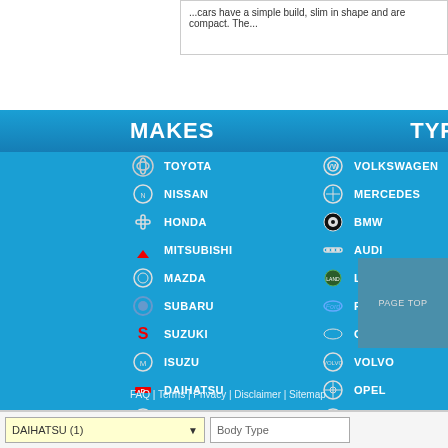...cars have a simple build, slim in shape and are compact. The...
MAKES
TYPE
TOYOTA
NISSAN
HONDA
MITSUBISHI
MAZDA
SUBARU
SUZUKI
ISUZU
DAIHATSU
HINO
VOLKSWAGEN
MERCEDES
BMW
AUDI
LAND ROVER
FORD
CHRYSLER
VOLVO
OPEL
PEUGEOT
FAQ | Terms | Privacy | Disclaimer | Sitemap
DAIHATSU (1)
Body Type